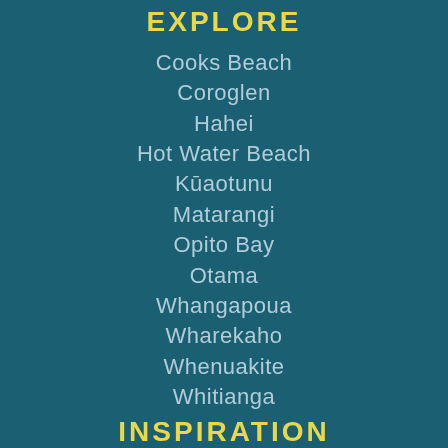EXPLORE
Cooks Beach
Coroglen
Hahei
Hot Water Beach
Kūaotunu
Matarangi
Opito Bay
Otama
Whangapoua
Wharekaho
Whenuakite
Whitianga
INSPIRATION